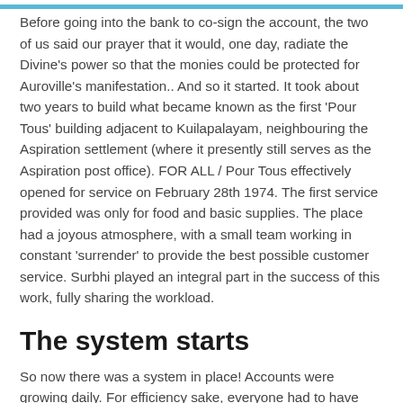Before going into the bank to co-sign the account, the two of us said our prayer that it would, one day, radiate the Divine's power so that the monies could be protected for Auroville's manifestation.. And so it started. It took about two years to build what became known as the first 'Pour Tous' building adjacent to Kuilapalayam, neighbouring the Aspiration settlement (where it presently still serves as the Aspiration post office). FOR ALL / Pour Tous effectively opened for service on February 28th 1974. The first service provided was only for food and basic supplies. The place had a joyous atmosphere, with a small team working in constant 'surrender' to provide the best possible customer service. Surbhi played an integral part in the success of this work, fully sharing the workload.
The system starts
So now there was a system in place! Accounts were growing daily. For efficiency sake, everyone had to have their order in